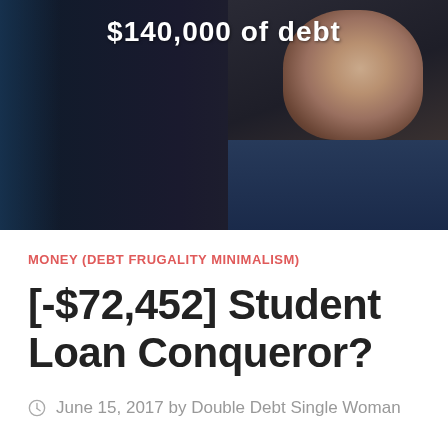[Figure (photo): Dark hero image showing a person looking downward, with the text '$140,000 of debt' overlaid in white bold font. The background is predominantly dark/black with blue accents on the left side, and the person is wearing a dark blue jacket.]
MONEY (DEBT FRUGALITY MINIMALISM)
[-$72,452] Student Loan Conqueror?
June 15, 2017 by Double Debt Single Woman